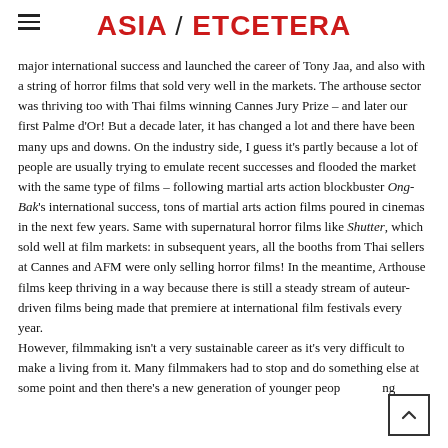ASIA / ETCETERA
major international success and launched the career of Tony Jaa, and also with a string of horror films that sold very well in the markets. The arthouse sector was thriving too with Thai films winning Cannes Jury Prize – and later our first Palme d'Or! But a decade later, it has changed a lot and there have been many ups and downs. On the industry side, I guess it's partly because a lot of people are usually trying to emulate recent successes and flooded the market with the same type of films – following martial arts action blockbuster Ong-Bak's international success, tons of martial arts action films poured in cinemas in the next few years. Same with supernatural horror films like Shutter, which sold well at film markets: in subsequent years, all the booths from Thai sellers at Cannes and AFM were only selling horror films! In the meantime, Arthouse films keep thriving in a way because there is still a steady stream of auteur-driven films being made that premiere at international film festivals every year. However, filmmaking isn't a very sustainable career as it's very difficult to make a living from it. Many filmmakers had to stop and do something else at some point and then there's a new generation of younger people coming